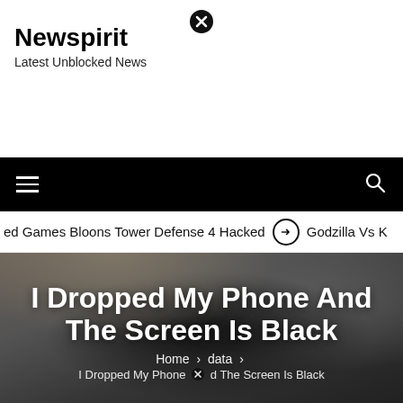Newspirit
Latest Unblocked News
[Figure (screenshot): Navigation bar with hamburger menu icon on the left and search icon on the right, black background]
ed Games Bloons Tower Defense 4 Hacked  ⊙  Godzilla Vs K
I Dropped My Phone And The Screen Is Black
Home > data > I Dropped My Phone ⊗d The Screen Is Black